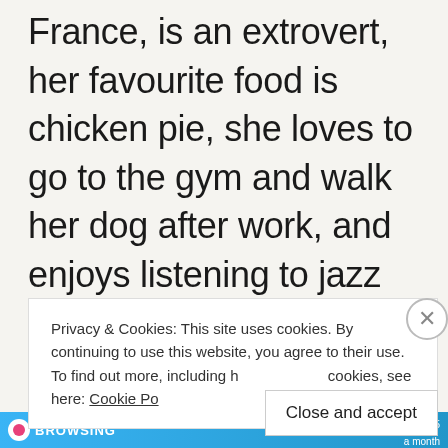France, is an extrovert, her favourite food is chicken pie, she loves to go to the gym and walk her dog after work, and enjoys listening to jazz going to be the most important things you need to know about her? Probably not. Feels a bit too personal. But what we are
Privacy & Cookies: This site uses cookies. By continuing to use this website, you agree to their use.
To find out more, including h cookies, see here: Cookie Po
Close and accept